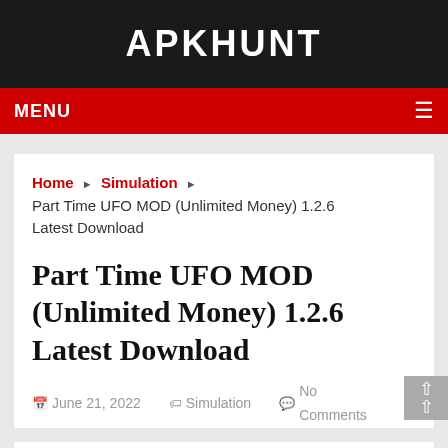APKHUNT
MENU
Home ▶ Simulation ▶ Part Time UFO MOD (Unlimited Money) 1.2.6 Latest Download
Part Time UFO MOD (Unlimited Money) 1.2.6 Latest Download
June 21, 2022   Simulation   No Comments
PART TIME UFO MOD (UNLIMITED